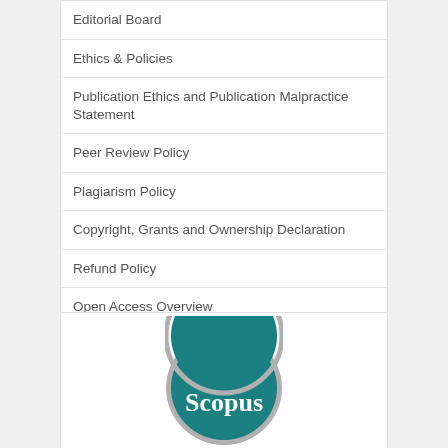Editorial Board
Ethics & Policies
Publication Ethics and Publication Malpractice Statement
Peer Review Policy
Plagiarism Policy
Copyright, Grants and Ownership Declaration
Refund Policy
Open Access Overview
Open Access License
Permissions
COPE
[Figure (logo): Scopus 'Indexed by' badge — teal oval with grey border showing 'Indexed by' text above 'Scopus' in white serif font]